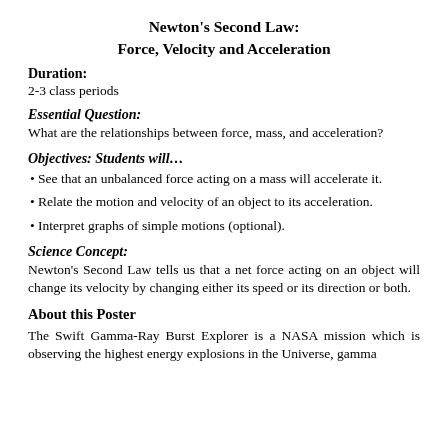Newton's Second Law:
Force, Velocity and Acceleration
Duration:
2-3 class periods
Essential Question:
What are the relationships between force, mass, and acceleration?
Objectives: Students will…
• See that an unbalanced force acting on a mass will accelerate it.
• Relate the motion and velocity of an object to its acceleration.
• Interpret graphs of simple motions (optional).
Science Concept:
Newton's Second Law tells us that a net force acting on an object will change its velocity by changing either its speed or its direction or both.
About this Poster
The Swift Gamma-Ray Burst Explorer is a NASA mission which is observing the highest energy explosions in the Universe, gamma